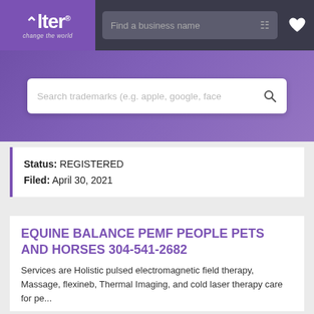[Figure (screenshot): Alter trademark search website navigation bar with purple logo box showing 'Alter change the world', a search field 'Find a business name' with filter icon, and a heart icon on dark background]
[Figure (screenshot): Purple banner with white search bar placeholder text 'Search trademarks (e.g. apple, google, face' and search icon]
Status: REGISTERED
Filed: April 30, 2021
EQUINE BALANCE PEMF PEOPLE PETS AND HORSES 304-541-2682
Services are Holistic pulsed electromagnetic field therapy, Massage, flexineb, Thermal Imaging, and cold laser therapy care for pe...